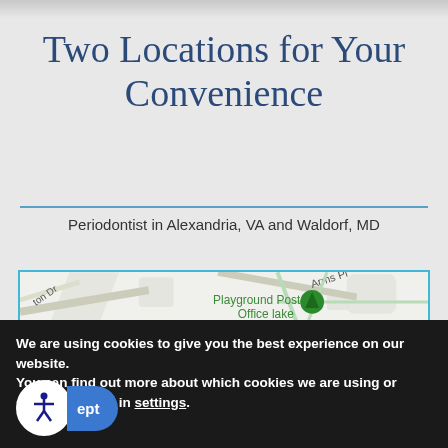Two Locations for Your Convenience
Periodontist in Alexandria, VA and Waldorf, MD
[Figure (map): Street map showing area with roads including 'Arms Pl', 'ton Dr', and landmarks including 'Playground Post Office lake'. Map has a teal/cyan border.]
We are using cookies to give you the best experience on our website.
You can find out more about which cookies we are using or switch them off in settings.